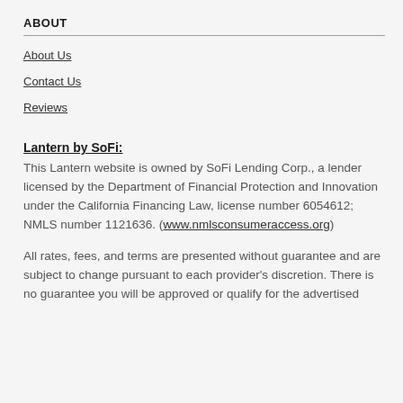ABOUT
About Us
Contact Us
Reviews
Lantern by SoFi:
This Lantern website is owned by SoFi Lending Corp., a lender licensed by the Department of Financial Protection and Innovation under the California Financing Law, license number 6054612; NMLS number 1121636. (www.nmlsconsumeraccess.org)
All rates, fees, and terms are presented without guarantee and are subject to change pursuant to each provider's discretion. There is no guarantee you will be approved or qualify for the advertised